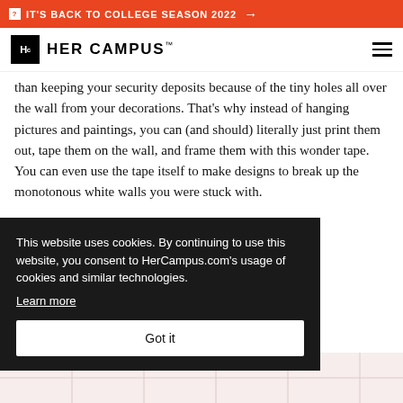IT'S BACK TO COLLEGE SEASON 2022 →
HER CAMPUS
than keeping your security deposits because of the tiny holes all over the wall from your decorations. That's why instead of hanging pictures and paintings, you can (and should) literally just print them out, tape them on the wall, and frame them with this wonder tape. You can even use the tape itself to make designs to break up the monotonous white walls you were stuck with.
SUPPLIES:
se it at any craft store in the und $5 a roll)
This website uses cookies. By continuing to use this website, you consent to HerCampus.com's usage of cookies and similar technologies. Learn more Got it
[Figure (photo): Bottom portion showing a grid/table pattern in light pink/rose tones]